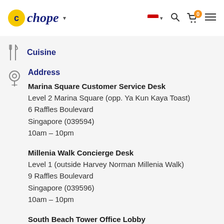chope — navigation header with logo, flag, search, cart (0), and menu icons
Cuisine
Address
Marina Square Customer Service Desk
Level 2 Marina Square (opp. Ya Kun Kaya Toast)
6 Raffles Boulevard
Singapore (039594)
10am – 10pm
Millenia Walk Concierge Desk
Level 1 (outside Harvey Norman Millenia Walk)
9 Raffles Boulevard
Singapore (039596)
10am – 10pm
South Beach Tower Office Lobby
(Drop off along Middle Road)
38 Beach Rd